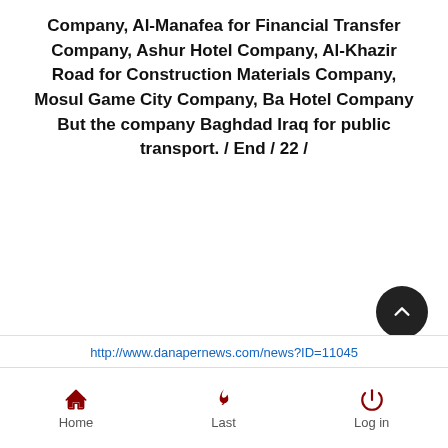Company, Al-Manafea for Financial Transfer Company, Ashur Hotel Company, Al-Khazir Road for Construction Materials Company, Mosul Game City Company, Ba Hotel Company But the company Baghdad Iraq for public transport. / End / 22 /
http://www.danapernews.com/news?ID=11045